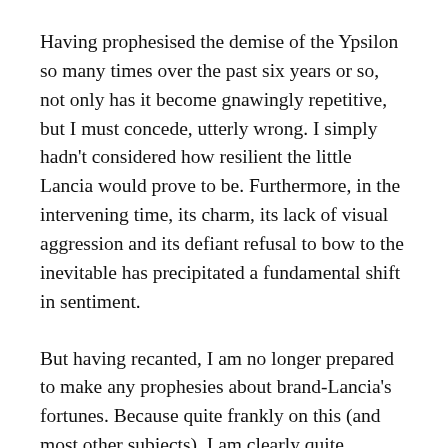Having prophesised the demise of the Ypsilon so many times over the past six years or so, not only has it become gnawingly repetitive, but I must concede, utterly wrong. I simply hadn't considered how resilient the little Lancia would prove to be. Furthermore, in the intervening time, its charm, its lack of visual aggression and its defiant refusal to bow to the inevitable has precipitated a fundamental shift in sentiment.
But having recanted, I am no longer prepared to make any prophesies about brand-Lancia's fortunes. Because quite frankly on this (and most other subjects), I am clearly quite clueless.
But to return to the point about bowing to certain